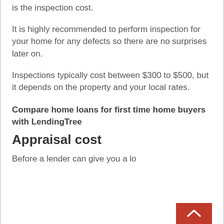is the inspection cost.
It is highly recommended to perform inspection for your home for any defects so there are no surprises later on.
Inspections typically cost between $300 to $500, but it depends on the property and your local rates.
Compare home loans for first time home buyers with LendingTree
Appraisal cost
Before a lender can give you a lo